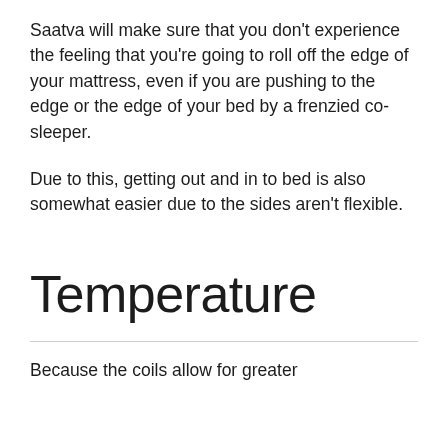Saatva will make sure that you don't experience the feeling that you're going to roll off the edge of your mattress, even if you are pushing to the edge or the edge of your bed by a frenzied co-sleeper.
Due to this, getting out and in to bed is also somewhat easier due to the sides aren't flexible.
Temperature
Because the coils allow for greater